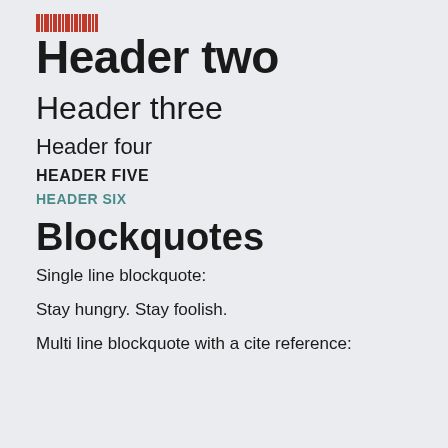[Figure (other): Small barcode or pixel art icon in the top left corner]
Header two
Header three
Header four
HEADER FIVE
HEADER SIX
Blockquotes
Single line blockquote:
Stay hungry. Stay foolish.
Multi line blockquote with a cite reference: